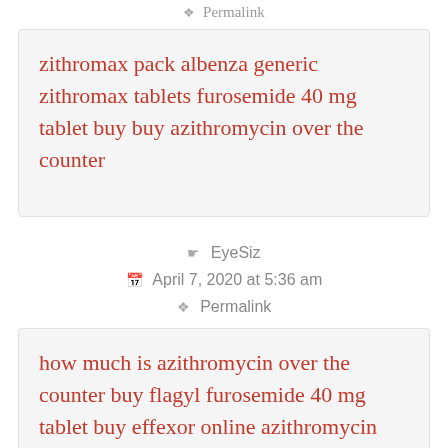Permalink
zithromax pack albenza generic zithromax tablets furosemide 40 mg tablet buy buy azithromycin over the counter
EyeSiz
April 7, 2020 at 5:36 am
Permalink
how much is azithromycin over the counter buy flagyl furosemide 40 mg tablet buy effexor online azithromycin pills advair 2019 citalopram clonidine online zithromax 200 mg prednisone daily